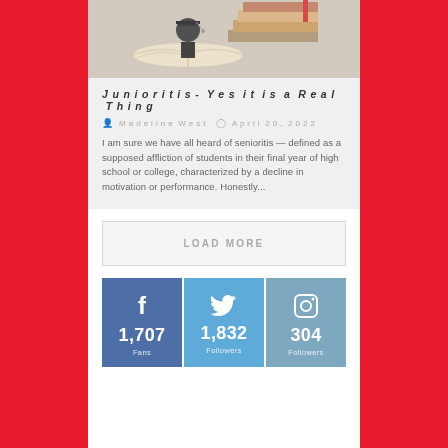[Figure (photo): Person in graduation cap reading a book, surrounded by stacked books]
Junioritis- Yes it is a Real Thing
Madeline West   April 20, 2022
I am sure we have all heard of senioritis — defined as a supposed affliction of students in their final year of high school or college, characterized by a decline in motivation or performance. Honestly...
LOAD MORE
1,707 Fans
1,832 Followers
304 Followers